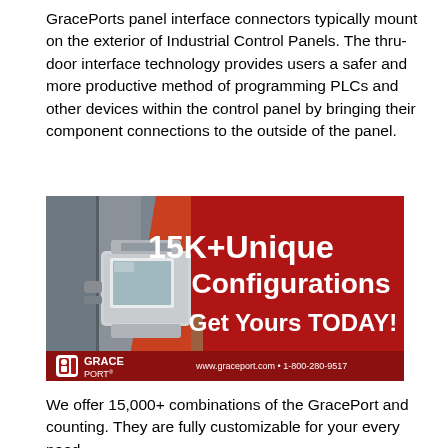GracePorts panel interface connectors typically mount on the exterior of Industrial Control Panels. The thru-door interface technology provides users a safer and more productive method of programming PLCs and other devices within the control panel by bringing their component connections to the outside of the panel.
[Figure (illustration): GracePort advertisement banner showing a panel interface connector device on the left against industrial panels, red background on the right with text '15K+ Unique Configurations Get Yours TODAY!' and GracePort logo with www.graceport.com and 1-800-280-9517]
We offer 15,000+ combinations of the GracePort and counting. They are fully customizable for your every need